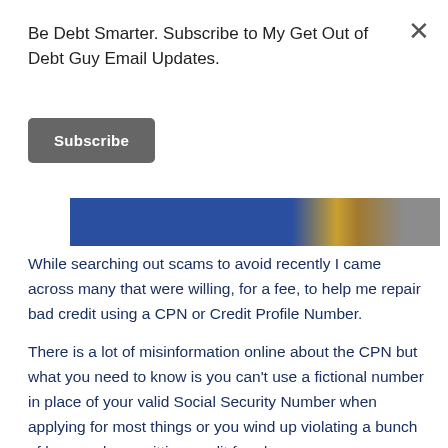Be Debt Smarter. Subscribe to My Get Out of Debt Guy Email Updates.
Subscribe
[Figure (photo): Partial photo of a person in front of a blue background with gold accent, cropped at the top of the page]
While searching out scams to avoid recently I came across many that were willing, for a fee, to help me repair bad credit using a CPN or Credit Profile Number.
There is a lot of misinformation online about the CPN but what you need to know is you can't use a fictional number in place of your valid Social Security Number when applying for most things or you wind up violating a bunch of laws and committing credit fraud.